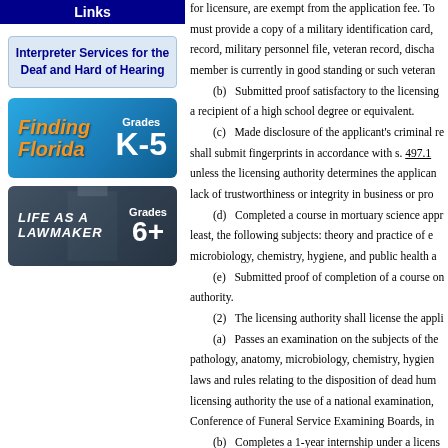Links
[Figure (other): Interpreter Services for the Deaf and Hard of Hearing link box]
[Figure (other): Finding Florida Grades K-5 educational link banner]
[Figure (other): Life as a Lawmaker Grades 6+ educational link banner]
for licensure, are exempt from the application fee. To must provide a copy of a military identification card, record, military personnel file, veteran record, discha member is currently in good standing or such veteran
(b) Submitted proof satisfactory to the licensing a recipient of a high school degree or equivalent.
(c) Made disclosure of the applicant's criminal re shall submit fingerprints in accordance with s. 497.1 unless the licensing authority determines the applican lack of trustworthiness or integrity in business or pro
(d) Completed a course in mortuary science appr least, the following subjects: theory and practice of e microbiology, chemistry, hygiene, and public health a
(e) Submitted proof of completion of a course o authority.
(2) The licensing authority shall license the appli
(a) Passes an examination on the subjects of the pathology, anatomy, microbiology, chemistry, hygie laws and rules relating to the disposition of dead hu licensing authority the use of a national examination Conference of Funeral Service Examining Boards, i
(b) Completes a 1-year internship under a licens
(3) Any applicant who has completed the require